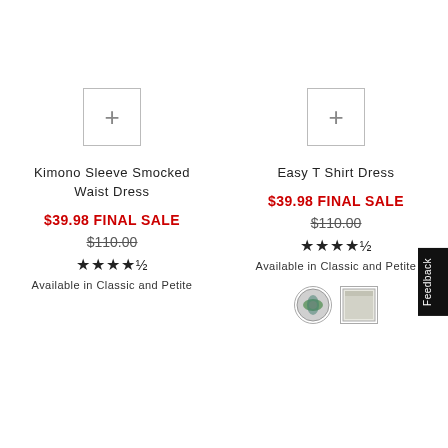[Figure (screenshot): Plus button icon for Kimono Sleeve Smocked Waist Dress]
Kimono Sleeve Smocked
Waist Dress
$39.98 FINAL SALE
$110.00
★★★★½
Available in Classic and Petite
[Figure (screenshot): Plus button icon for Easy T Shirt Dress]
Easy T Shirt Dress
$39.98 FINAL SALE
$110.00
★★★★½
Available in Classic and Petite
[Figure (photo): Color swatches for Easy T Shirt Dress - two circular/square fabric swatches]
Feedback